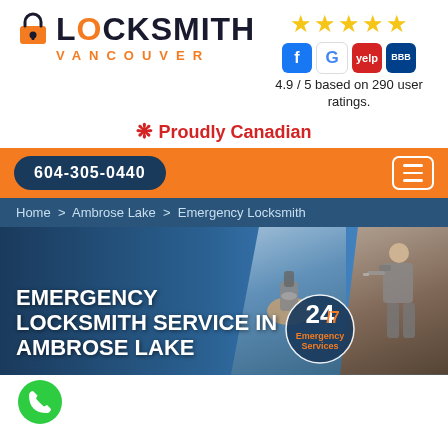[Figure (logo): Locksmith Vancouver logo with padlock icon, dark text and orange accent]
[Figure (infographic): 5 gold stars, social media icons (Facebook, Google, Yelp, BBB), rating text: 4.9 / 5 based on 290 user ratings.]
🍁 Proudly Canadian
604-305-0440
Home > Ambrose Lake > Emergency Locksmith
EMERGENCY LOCKSMITH SERVICE IN AMBROSE LAKE
[Figure (infographic): 24/7 Emergency Services badge]
[Figure (photo): Locksmith working on a door lock close-up]
[Figure (photo): Locksmith technician using a drill on a door]
[Figure (illustration): Green phone call floating action button at bottom left]